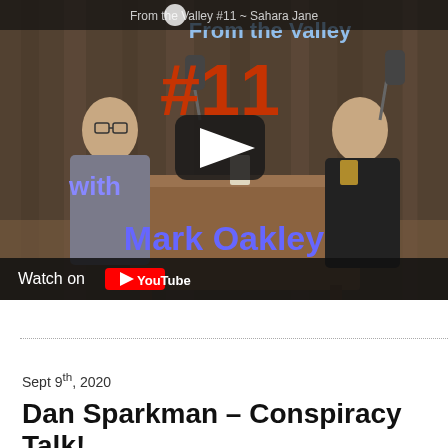[Figure (screenshot): YouTube video thumbnail for 'From the Valley #11 ~ Sahara Jane' podcast episode featuring two people seated at a wooden table with microphones, with text overlay 'From the Valley #11 with Mark Oakley' and 'Watch on YouTube' button.]
Sept 9th, 2020
Dan Sparkman – Conspiracy Talk!